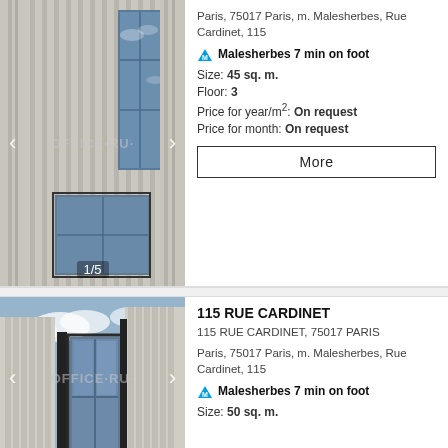[Figure (photo): Building facade with vertical ribbed concrete panels and large glass windows, first listing card top photo]
Paris, 75017 Paris, m. Malesherbes, Rue Cardinet, 115
M Malesherbes 7 min on foot
Size: 45 sq. m.
Floor: 3
Price for year/m²: On request
Price for month: On request
More
[Figure (photo): Building facade with white ribbed concrete columns and central glass window panel, second listing card photo]
115 RUE CARDINET
115 RUE CARDINET, 75017 PARIS
Paris, 75017 Paris, m. Malesherbes, Rue Cardinet, 115
M Malesherbes 7 min on foot
Size: 50 sq. m.